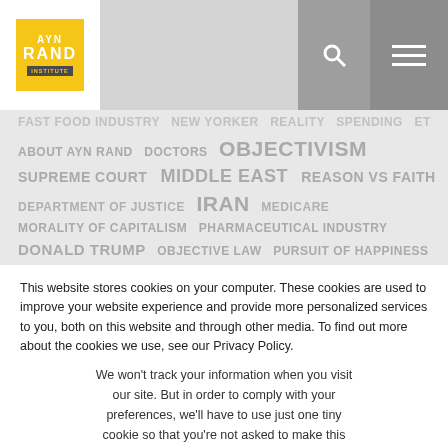[Figure (logo): Ayn Rand Institute logo — yellow square with AYN RAND text and INSTITUTE label beneath, on white background within gray header bar]
FAST FOOD INDUSTRY NEW YORKER REALITY SPENDING ETHICS ABOUT AYN RAND DOCTORS OBJECTIVISM SUPREME COURT MIDDLE EAST REASON VS FAITH DEPARTMENT OF JUSTICE IRAN MEDICARE MORALITY OF CAPITALISM PHARMACEUTICAL INDUSTRY DONALD TRUMP OBJECTIVE LAW PURSUIT OF HAPPINESS CIVIL DUTY CLIMATE CHANGE
This website stores cookies on your computer. These cookies are used to improve your website experience and provide more personalized services to you, both on this website and through other media. To find out more about the cookies we use, see our Privacy Policy.
We won't track your information when you visit our site. But in order to comply with your preferences, we'll have to use just one tiny cookie so that you're not asked to make this choice again.